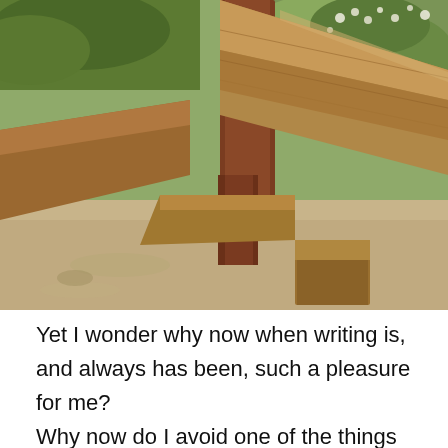[Figure (photo): Outdoor photograph of large wooden beam benches or landscape timbers arranged in a garden or park setting, with sandy ground and green shrubs/bushes in the background.]
Yet I wonder why now when writing is, and always has been, such a pleasure for me?
Why now do I avoid one of the things from which I get